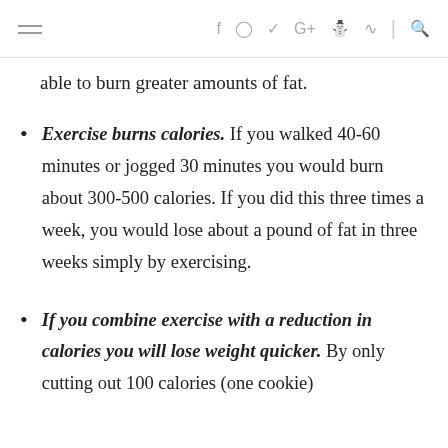≡  f  ⊙  𝐲  G+  ℗  ⌂  |  🔍
able to burn greater amounts of fat.
Exercise burns calories. If you walked 40-60 minutes or jogged 30 minutes you would burn about 300-500 calories. If you did this three times a week, you would lose about a pound of fat in three weeks simply by exercising.
If you combine exercise with a reduction in calories you will lose weight quicker. By only cutting out 100 calories (one cookie)